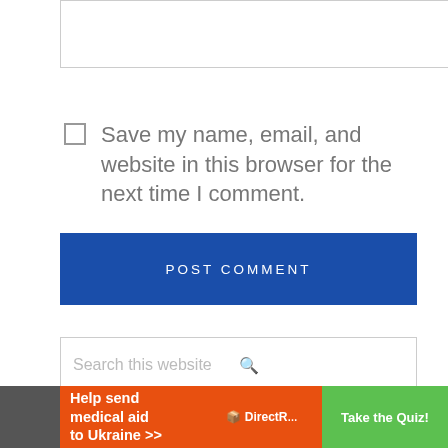[text input box]
Save my name, email, and website in this browser for the next time I comment.
POST COMMENT
Search this website
Join our Facebook Group!
[Figure (infographic): Advertisement banner: Help send medical aid to Ukraine >> DirectRelief logo, Take the Quiz! green button]